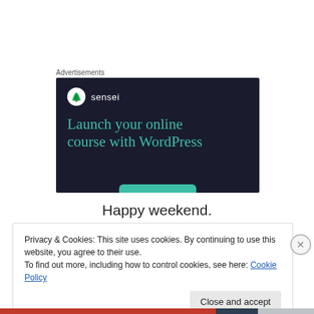Advertisements
[Figure (illustration): Sensei advertisement banner with dark navy background. Shows sensei logo (tree icon in white circle) with brand name 'sensei', large teal text reading 'Launch your online course with WordPress', and a teal button at the bottom.]
Happy weekend.
Privacy & Cookies: This site uses cookies. By continuing to use this website, you agree to their use.
To find out more, including how to control cookies, see here: Cookie Policy
Close and accept